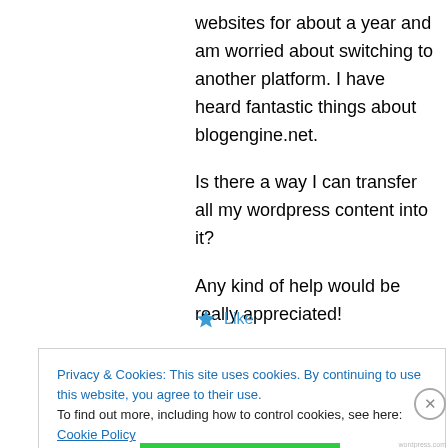websites for about a year and am worried about switching to another platform. I have heard fantastic things about blogengine.net.
Is there a way I can transfer all my wordpress content into it?
Any kind of help would be really appreciated!
★ Like
Privacy & Cookies: This site uses cookies. By continuing to use this website, you agree to their use.
To find out more, including how to control cookies, see here: Cookie Policy
Close and accept